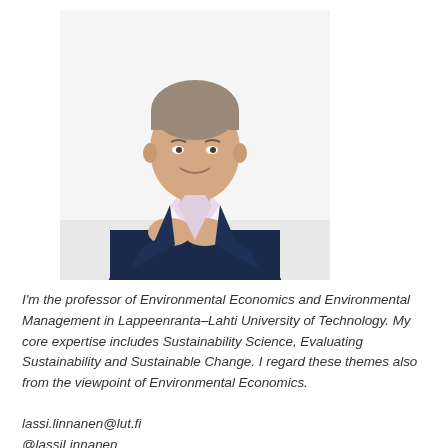[Figure (photo): Professional headshot of a middle-aged man in a dark navy blazer and light pink shirt, seated at a white table with hands clasped, smiling, against a white background.]
I'm the professor of Environmental Economics and Environmental Management in Lappeenranta–Lahti University of Technology. My core expertise includes Sustainability Science, Evaluating Sustainability and Sustainable Change. I regard these themes also from the viewpoint of Environmental Economics.
lassi.linnanen@lut.fi
@lassiLinnanen